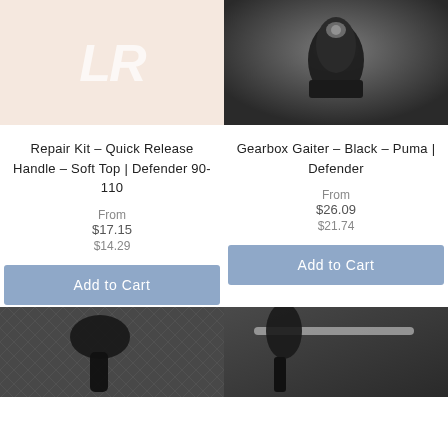[Figure (photo): Placeholder logo image with LR text on peach background]
[Figure (photo): Photo of a gearbox gaiter in black leather inside a vehicle interior]
Repair Kit - Quick Release Handle - Soft Top | Defender 90-110
Gearbox Gaiter - Black - Puma | Defender
From $17.15 $14.29
From $26.09 $21.74
Add to Cart
Add to Cart
[Figure (photo): Photo of a black soft top handle/gear knob on diamond-plate metal surface]
[Figure (photo): Photo of a black handbrake gaiter on vehicle interior]